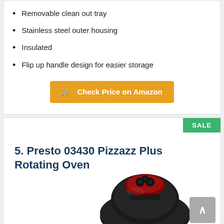Removable clean out tray
Stainless steel outer housing
Insulated
Flip up handle design for easier storage
[Figure (other): Orange 'Check Price on Amazon' button with shopping cart icon]
[Figure (other): Green SALE badge in top right corner of product card]
5. Presto 03430 Pizzazz Plus Rotating Oven
[Figure (photo): Photo of Presto 03430 Pizzazz Plus Rotating Oven - black device with red and black control knobs on top]